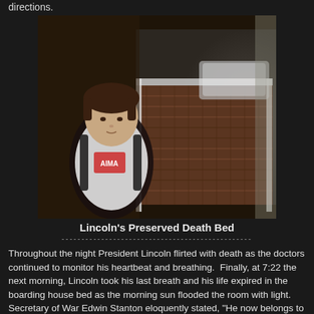directions.
[Figure (photo): A young boy with brown hair wearing a white t-shirt with red lettering and a black backpack, standing in front of what appears to be a historic bed with a patterned quilt and white railings — Lincoln's preserved death bed at the boarding house.]
Lincoln's Preserved Death Bed
Throughout the night President Lincoln flirted with death as the doctors continued to monitor his heartbeat and breathing.  Finally, at 7:22 the next morning, Lincoln took his last breath and his life expired in the boarding house bed as the morning sun flooded the room with light.  Secretary of War Edwin Stanton eloquently stated, "He now belongs to the ages."  Mary Todd Lincoln was not able to raise her emotional strength to enter the room to see the dead body of